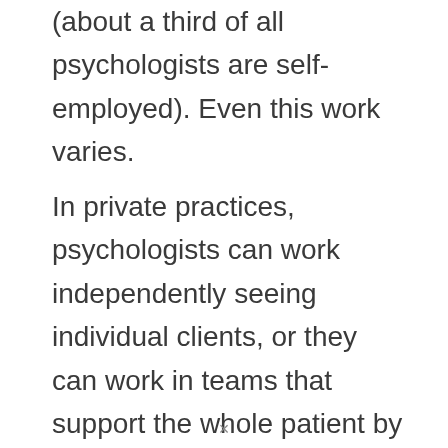(about a third of all psychologists are self-employed). Even this work varies.
In private practices, psychologists can work independently seeing individual clients, or they can work in teams that support the whole patient by collaborating with other wellness professionals. A smaller number of psychologists choose to research instead of practice. These individuals work for institutions of higher education, government agencies,
×